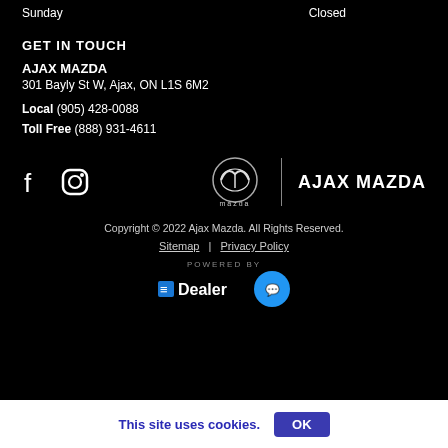Sunday   Closed
GET IN TOUCH
AJAX MAZDA
301 Bayly St W, Ajax, ON L1S 6M2
Local  (905) 428-0088
Toll Free  (888) 931-4611
[Figure (logo): Facebook and Instagram social icons, then Mazda logo with vertical divider and AJAX MAZDA text]
Copyright © 2022 Ajax Mazda.  All Rights Reserved.
Sitemap | Privacy Policy
POWERED BY
EDealer
This site uses cookies.   OK